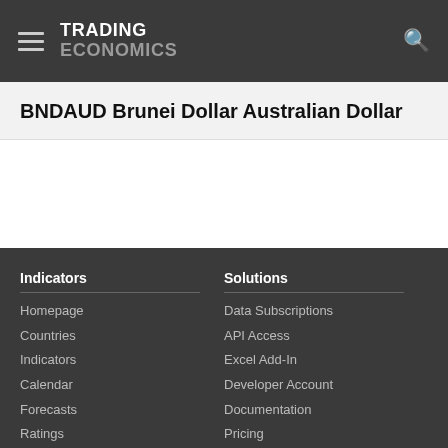TRADING ECONOMICS
BNDAUD Brunei Dollar Australian Dollar
Indicators
Homepage
Countries
Indicators
Calendar
Forecasts
Ratings
Solutions
Data Subscriptions
API Access
Excel Add-In
Developer Account
Documentation
Pricing
About Us
Customers
Careers
Follow Us
Twitter
App Store